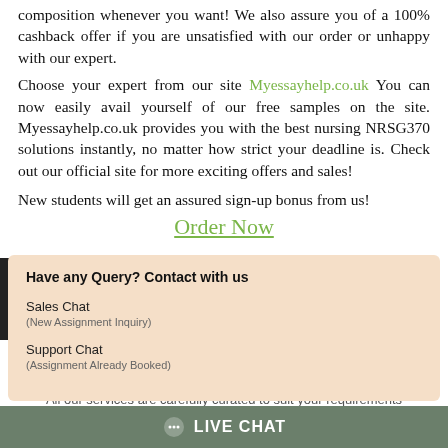composition whenever you want! We also assure you of a 100% cashback offer if you are unsatisfied with our order or unhappy with our expert.
Choose your expert from our site Myessayhelp.co.uk You can now easily avail yourself of our free samples on the site. Myessayhelp.co.uk provides you with the best nursing NRSG370 solutions instantly, no matter how strict your deadline is. Check out our official site for more exciting offers and sales!
New students will get an assured sign-up bonus from us!
Order Now
Have any Query? Contact with us
Sales Chat
(New Assignment Inquiry)
Support Chat
(Assignment Already Booked)
All our services are carefully curated to suit your requirements
LIVE CHAT